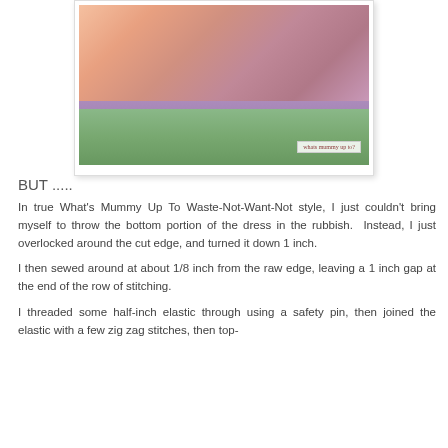[Figure (photo): Child wearing purple/lavender shorts and a floral top, standing outdoors near green plants. Watermark reads 'whats mummy up to?' in the bottom right corner.]
BUT .....
In true What's Mummy Up To Waste-Not-Want-Not style, I just couldn't bring myself to throw the bottom portion of the dress in the rubbish.  Instead, I just overlocked around the cut edge, and turned it down 1 inch.
I then sewed around at about 1/8 inch from the raw edge, leaving a 1 inch gap at the end of the row of stitching.
I threaded some half-inch elastic through using a safety pin, then joined the elastic with a few zig zag stitches, then top-